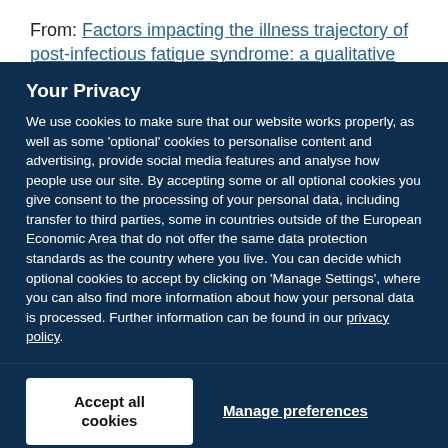From: Factors impacting the illness trajectory of post-infectious fatigue syndrome: a qualitative study of adults'
Your Privacy
We use cookies to make sure that our website works properly, as well as some 'optional' cookies to personalise content and advertising, provide social media features and analyse how people use our site. By accepting some or all optional cookies you give consent to the processing of your personal data, including transfer to third parties, some in countries outside of the European Economic Area that do not offer the same data protection standards as the country where you live. You can decide which optional cookies to accept by clicking on 'Manage Settings', where you can also find more information about how your personal data is processed. Further information can be found in our privacy policy.
Accept all cookies
Manage preferences